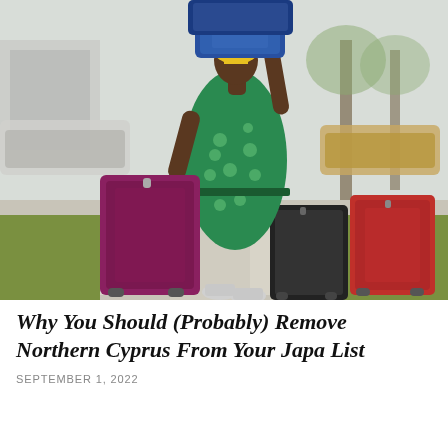[Figure (photo): A woman in a green polka-dot dress and yellow headscarf carrying multiple suitcases on a sidewalk. She balances two large blue suitcases on her head, pulls a large maroon suitcase with her left hand, and walks past two more suitcases (a black one and a red one) on the ground. Cars and trees are visible in the background.]
Why You Should (Probably) Remove Northern Cyprus From Your Japa List
SEPTEMBER 1, 2022